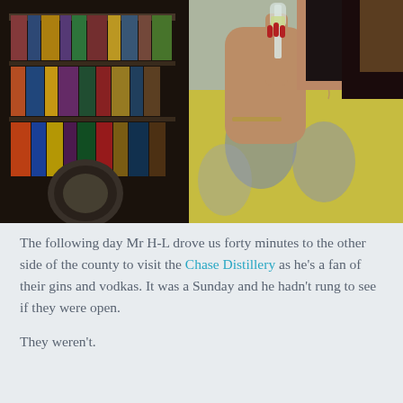[Figure (photo): A woman in a yellow floral dress holding a glass of white wine or champagne. Behind her is a bookshelf filled with books. She has dark hair, red nails, a bracelet, and a necklace.]
The following day Mr H-L drove us forty minutes to the other side of the county to visit the Chase Distillery as he's a fan of their gins and vodkas. It was a Sunday and he hadn't rung to see if they were open.
They weren't.